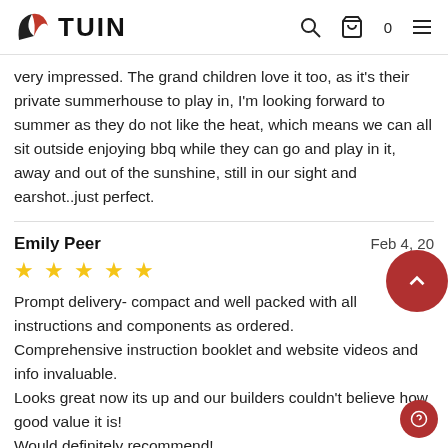TUIN
very impressed. The grand children love it too, as it's their private summerhouse to play in, I'm looking forward to summer as they do not like the heat, which means we can all sit outside enjoying bbq while they can go and play in it, away and out of the sunshine, still in our sight and earshot..just perfect.
Emily Peer — Feb 4, 20[20]
Prompt delivery- compact and well packed with all instructions and components as ordered.
Comprehensive instruction booklet and website videos and info invaluable.
Looks great now its up and our builders couldn't believe how good value it is!
Would definitely recommend!
Mr. Steve Miles — Jan 31, 2020